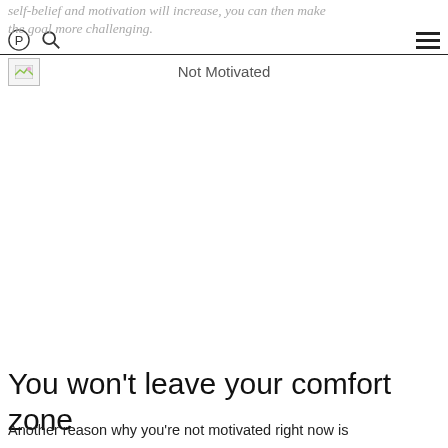self-belief and motivation will increase, you can then make the goal more challenging.
Not Motivated
[Figure (photo): Broken image placeholder for a photo related to 'Not Motivated']
You won't leave your comfort zone
Another reason why you're not motivated right now is